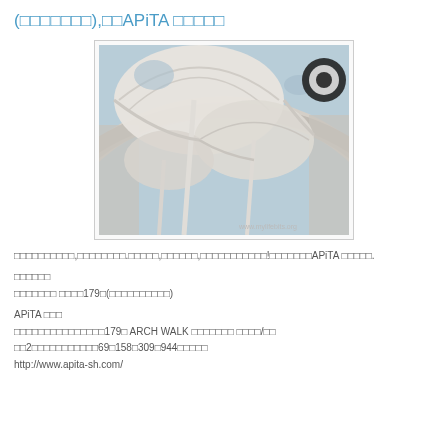(□□□□□□□),□□APiTA □□□□□
[Figure (photo): Interior architectural photo of APiTA shopping center atrium, looking up at large white tensile fabric canopy structures (umbrella-like) against sky, with circular building facade visible. Watermark: www.mylifebits.org]
□□□□□□□□□□,□□□□□□□□.□□□□□,□□□□□□,□□□□□□□□□□□!□□□□□□□APiTA □□□□□.
□□□□□□
□□□□□□□ □□□□179□(□□□□□□□□□□)
APiTA □□□
□□□□□□□□□□□□□□□179□ ARCH WALK □□□□□□□ □□□□/□□
□□2□□□□□□□□□□□69□158□309□944□□□□□
http://www.apita-sh.com/